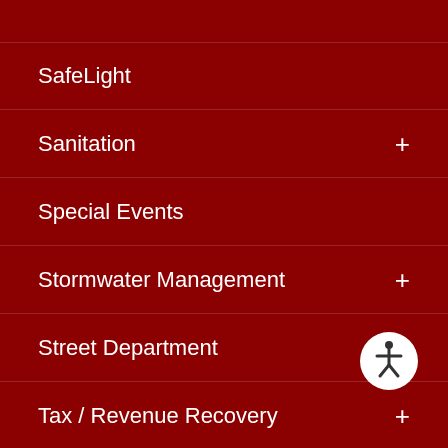SafeLight
Sanitation +
Special Events
Stormwater Management +
Street Department +
[Figure (illustration): Accessibility icon button — circular white badge with a person/wheelchair accessibility symbol in dark gray]
Tax / Revenue Recovery +